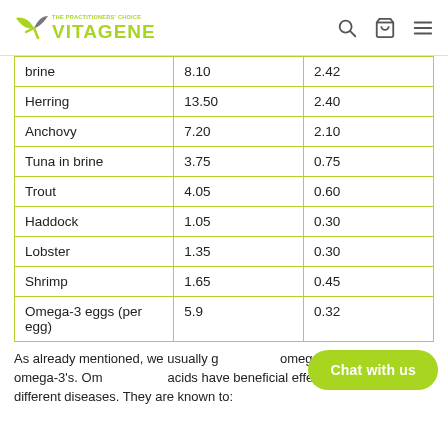VITAGENE — THE PRACTITIONERS' CHOICE
| brine | 8.10 | 2.42 |
| Herring | 13.50 | 2.40 |
| Anchovy | 7.20 | 2.10 |
| Tuna in brine | 3.75 | 0.75 |
| Trout | 4.05 | 0.60 |
| Haddock | 1.05 | 0.30 |
| Lobster | 1.35 | 0.30 |
| Shrimp | 1.65 | 0.45 |
| Omega-3 eggs (per egg) | 5.9 | 0.32 |
As already mentioned, we usually get enough omega-6's, but not omega-3's. Omega-3 fatty acids have beneficial effects on a number of different diseases. They are known to: